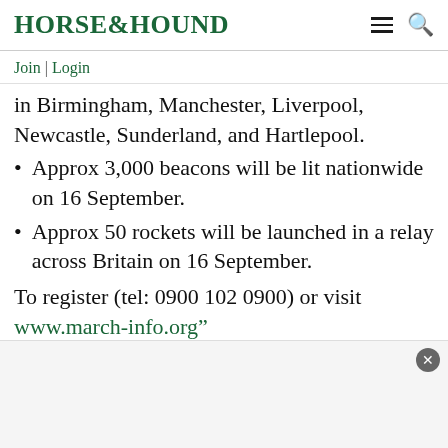HORSE&HOUND
Join | Login
in Birmingham, Manchester, Liverpool, Newcastle, Sunderland, and Hartlepool.
Approx 3,000 beacons will be lit nationwide on 16 September.
Approx 50 rockets will be launched in a relay across Britain on 16 September.
To register (tel: 0900 102 0900) or visit www.march-info.org"
Read more articles about the countryside